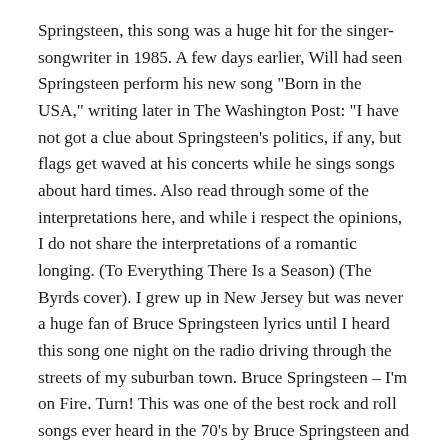Springsteen, this song was a huge hit for the singer-songwriter in 1985. A few days earlier, Will had seen Springsteen perform his new song "Born in the USA," writing later in The Washington Post: "I have not got a clue about Springsteen's politics, if any, but flags get waved at his concerts while he sings songs about hard times. Also read through some of the interpretations here, and while i respect the opinions, I do not share the interpretations of a romantic longing. (To Everything There Is a Season) (The Byrds cover). I grew up in New Jersey but was never a huge fan of Bruce Springsteen lyrics until I heard this song one night on the radio driving through the streets of my suburban town. Bruce Springsteen – I'm on Fire. Turn! This was one of the best rock and roll songs ever heard in the 70's by Bruce Springsteen and the E Street Band that captured the youthful dream of a dreamer that wants to believe in something meaningful by going out on the journey of life